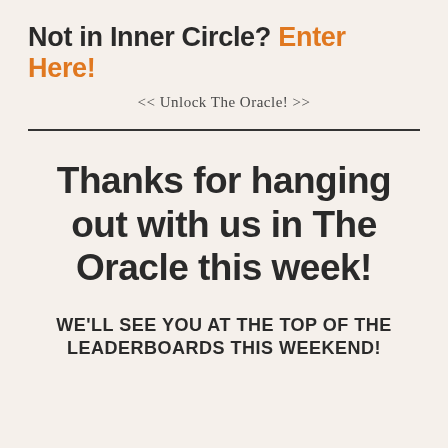Not in Inner Circle? Enter Here!
<< Unlock The Oracle! >>
Thanks for hanging out with us in The Oracle this week!
WE'LL SEE YOU AT THE TOP OF THE LEADERBOARDS THIS WEEKEND!